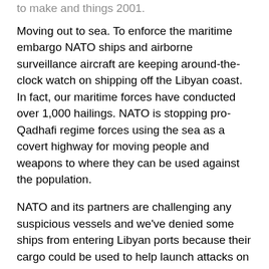to make and things 2001.
Moving out to sea. To enforce the maritime embargo NATO ships and airborne surveillance aircraft are keeping around-the-clock watch on shipping off the Libyan coast. In fact, our maritime forces have conducted over 1,000 hailings. NATO is stopping pro-Qadhafi regime forces using the sea as a covert highway for moving people and weapons to where they can be used against the population.
NATO and its partners are challenging any suspicious vessels and we've denied some ships from entering Libyan ports because their cargo could be used to help launch attacks on civilians.
At the same time, NATO is doing all it can to ensure the Libyan people get food, essential supplies and medical help by keeping the commercial and humanitarian shipping lanes from deliberate attacks and the danger of sea mines.